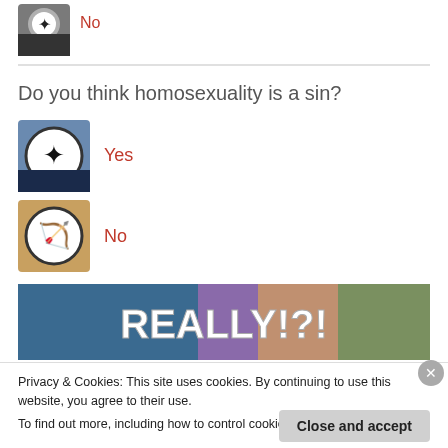[Figure (photo): Small circular avatar icon with silhouette figure on dark background, next to 'No' text in red]
No
Do you think homosexuality is a sin?
[Figure (photo): Medium square avatar icon with circular logo containing silhouette figure, blue/dark tones]
Yes
[Figure (photo): Medium square avatar icon with circular logo containing silhouette/archer figure, orange/warm tones]
No
[Figure (photo): Colorful banner image with bold white text reading REALLY!?! on a colorful illustrated background]
Privacy & Cookies: This site uses cookies. By continuing to use this website, you agree to their use.
To find out more, including how to control cookies, see here: Cookie Policy
Close and accept